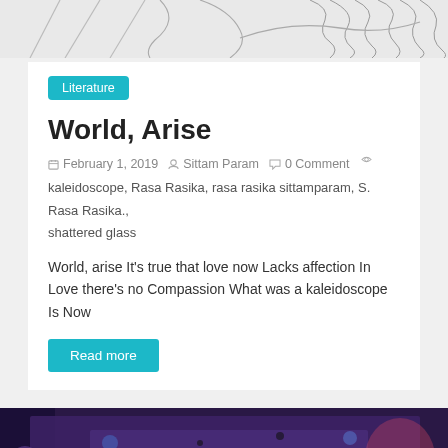[Figure (illustration): Pencil sketch line drawing of abstract flowing lines and curves, partial figure outline on light grey background]
Literature
World, Arise
February 1, 2019  Sittam Param  0 Comment  kaleidoscope, Rasa Rasika, rasa rasika sittamparam, S. Rasa Rasika., shattered glass
World, arise It's true that love now Lacks affection In Love there's no Compassion What was a kaleidoscope Is Now
Read more
[Figure (photo): Colorful abstract painting with dark blue/purple tones showing nested rectangular frames with cosmic or galaxy-like textures, spots, and painterly details]